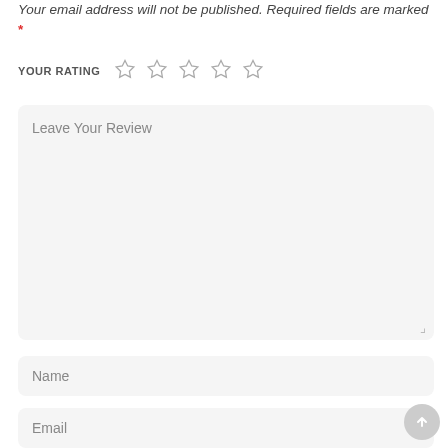Your email address will not be published. Required fields are marked *
YOUR RATING ☆☆☆☆☆
Leave Your Review
Name
Email